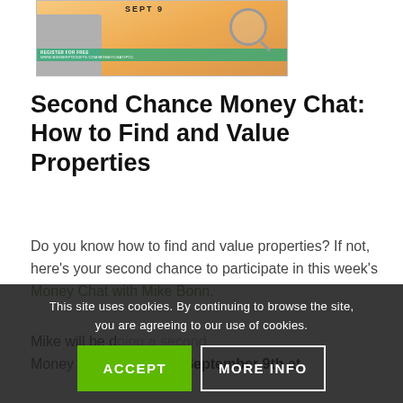[Figure (photo): Promotional image for Money Chat event on Sept 9, showing a person and a magnifying glass graphic with green banner text at bottom]
Second Chance Money Chat: How to Find and Value Properties
Do you know how to find and value properties? If not, here's your second chance to participate in this week's Money Chat with Mike Bonn.
Mike will be doing a second Money Chat Thursday, September 9th at
This site uses cookies. By continuing to browse the site, you are agreeing to our use of cookies.
ACCEPT
MORE INFO